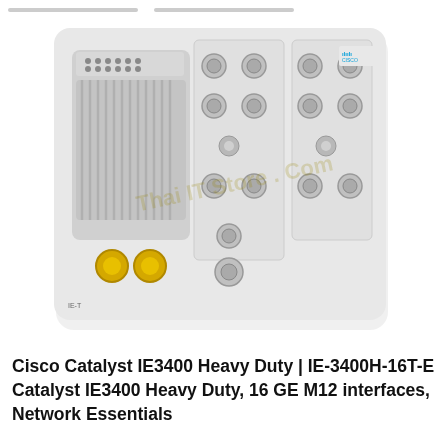[Figure (photo): Cisco Catalyst IE3400 Heavy Duty industrial network switch with M12 connectors, showing front panel with multiple GE M12 port interfaces, LED indicators, and power connectors. Watermark reads ThaiIT Store.com.]
Cisco Catalyst IE3400 Heavy Duty | IE-3400H-16T-E Catalyst IE3400 Heavy Duty, 16 GE M12 interfaces, Network Essentials